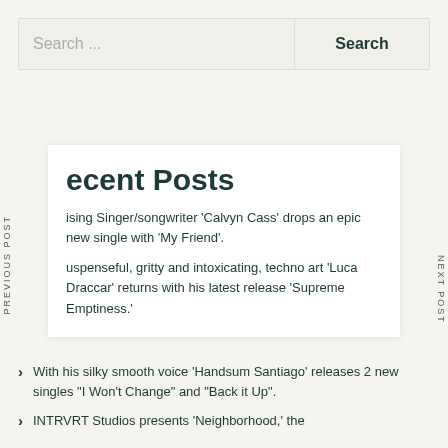Search ...
Search
PREVIOUS POST
NEXT POST
Recent Posts
Rising Singer/songwriter 'Calvyn Cass' drops an epic new single with 'My Friend'.
Suspenseful, gritty and intoxicating, techno artist 'Luca Draccar' returns with his latest release 'Supreme Emptiness.'
With his silky smooth voice 'Handsum Santiago' releases 2 new singles "I Won't Change" and "Back it Up".
INTRVRT Studios presents 'Neighborhood,' the